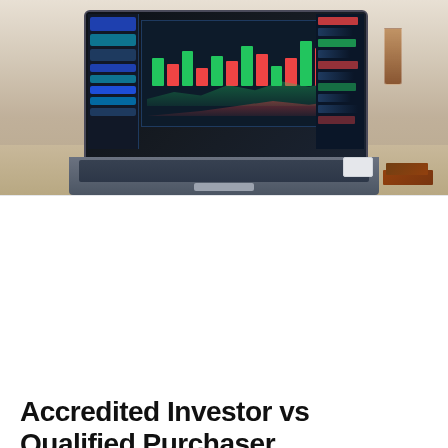[Figure (photo): A laptop displaying a trading/financial chart platform on its screen, placed on a kitchen counter. To the right is an iced drink in a glass jar and a stack of notebooks. The environment is a home/kitchen setting.]
Accredited Investor vs Qualified Purchaser
Accredited Investor vs Qualified Purchaser... what's the difference? In this post we'll explain: 1) what makes someone an Accredited Investor 2) what makes someone a Qualified Purchaser 3) the difference between accredited and qualified and 4) how to verify as an accredited investor.